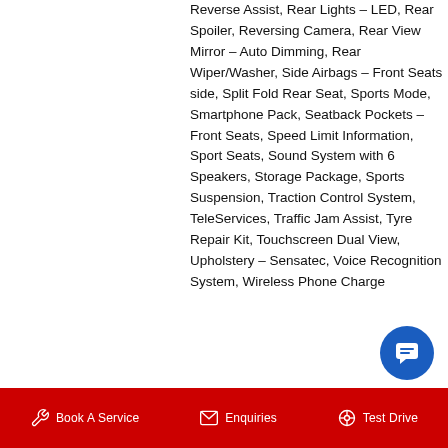Reverse Assist, Rear Lights – LED, Rear Spoiler, Reversing Camera, Rear View Mirror – Auto Dimming, Rear Wiper/Washer, Side Airbags – Front Seats side, Split Fold Rear Seat, Sports Mode, Smartphone Pack, Seatback Pockets – Front Seats, Speed Limit Information, Sport Seats, Sound System with 6 Speakers, Storage Package, Sports Suspension, Traction Control System, TeleServices, Traffic Jam Assist, Tyre Repair Kit, Touchscreen Dual View, Upholstery – Sensatec, Voice Recognition System, Wireless Phone Charge
Book A Service   Enquiries   Test Drive